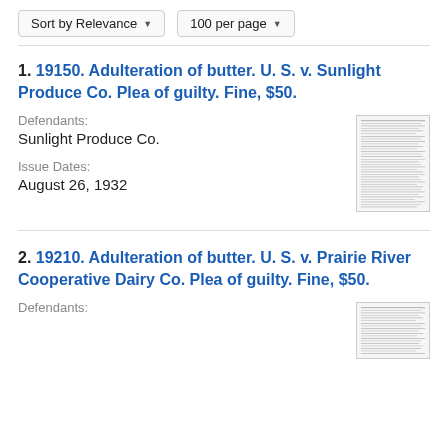Sort by Relevance   100 per page
1. 19150. Adulteration of butter. U. S. v. Sunlight Produce Co. Plea of guilty. Fine, $50.
Defendants:
Sunlight Produce Co.

Issue Dates:
August 26, 1932
[Figure (screenshot): Thumbnail of a scanned document page with dense small text]
2. 19210. Adulteration of butter. U. S. v. Prairie River Cooperative Dairy Co. Plea of guilty. Fine, $50.
Defendants:
[Figure (screenshot): Thumbnail of a scanned document page with dense small text]